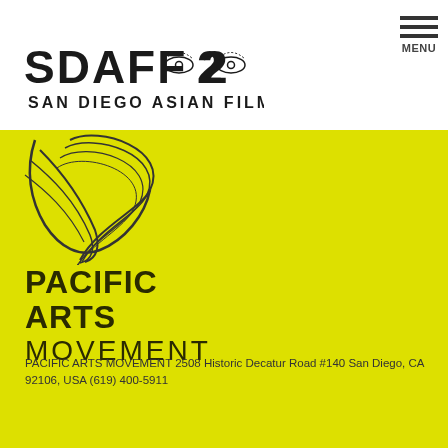[Figure (logo): SDAFF 2022 San Diego Asian Film Festival logo with stylized eye motifs between the numerals]
[Figure (logo): Hamburger menu icon with three horizontal lines above the word MENU]
[Figure (logo): Pacific Arts Movement decorative swirl/feather logo in dark outline on yellow background]
PACIFIC ARTS MOVEMENT
PACIFIC ARTS MOVEMENT 2508 Historic Decatur Road #140 San Diego, CA 92106, USA (619) 400-5911